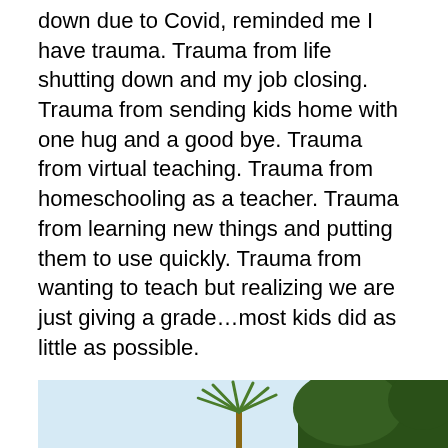down due to Covid, reminded me I have trauma. Trauma from life shutting down and my job closing. Trauma from sending kids home with one hug and a good bye. Trauma from virtual teaching. Trauma from homeschooling as a teacher. Trauma from learning new things and putting them to use quickly. Trauma from wanting to teach but realizing we are just giving a grade…most kids did as little as possible.
The teacher trauma is real!
Now we have schools with anxious students and teachers and leaders in very stressful situations. Balancing everyone's mental health and not wanting anyone to break.
[Figure (photo): Partial photo showing a light blue sky, a palm tree, and dark green trees/foliage at the bottom of the page]